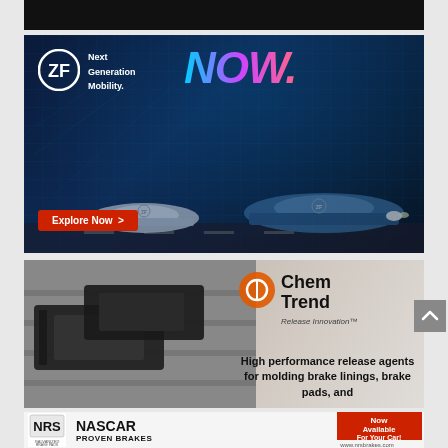[Figure (photo): Black top bar navigation area]
[Figure (infographic): ZF advertisement: Next Generation Mobility. NOW. with futuristic cars, dark blue background, Explore Now button]
[Figure (infographic): Chem Trend advertisement: High performance release agents for molding brake linings, brake pads, and more. Shows brake pads on metal surface.]
[Figure (infographic): NRS Brakes advertisement: NASCAR Proven Brakes. Now Available For Your Car! www.nrsbrakes.com]